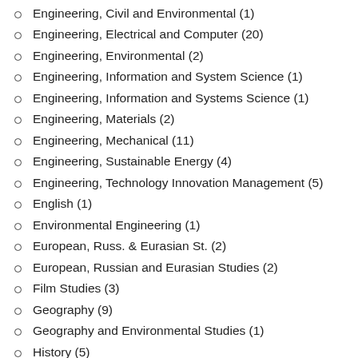Engineering, Civil and Environmental (1)
Engineering, Electrical and Computer (20)
Engineering, Environmental (2)
Engineering, Information and System Science (1)
Engineering, Information and Systems Science (1)
Engineering, Materials (2)
Engineering, Mechanical (11)
Engineering, Sustainable Energy (4)
Engineering, Technology Innovation Management (5)
English (1)
Environmental Engineering (1)
European, Russ. & Eurasian St. (2)
European, Russian and Eurasian Studies (2)
Film Studies (3)
Geography (9)
Geography and Environmental Studies (1)
History (5)
Human-Computer Interaction (8)
Industrial Design (6)